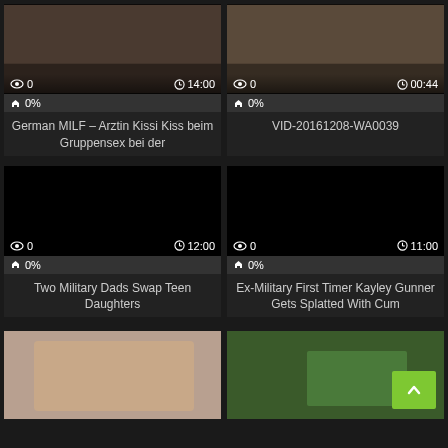[Figure (screenshot): Video thumbnail - group scene, views: 0, duration: 14:00, rating: 0%]
German MILF – Arztin Kissi Kiss beim Gruppensex bei der
[Figure (screenshot): Video thumbnail - close-up scene, views: 0, duration: 00:44, rating: 0%]
VID-20161208-WA0039
[Figure (screenshot): Black video thumbnail, views: 0, duration: 12:00, rating: 0%]
Two Military Dads Swap Teen Daughters
[Figure (screenshot): Black video thumbnail, views: 0, duration: 11:00, rating: 0%]
Ex-Military First Timer Kayley Gunner Gets Splatted With Cum
[Figure (photo): Video thumbnail - bathroom scene]
[Figure (photo): Video thumbnail - outdoor scene with green button overlay]